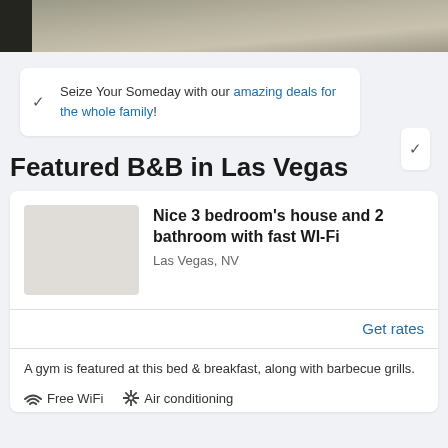[Figure (photo): Top portion of a hotel/bedroom photo showing a bed and floor]
Seize Your Someday with our amazing deals for the whole family!
Featured B&B in Las Vegas
Nice 3 bedroom's house and 2 bathroom with fast WI-Fi
Las Vegas, NV
Get rates
A gym is featured at this bed & breakfast, along with barbecue grills.
Free WiFi
Air conditioning